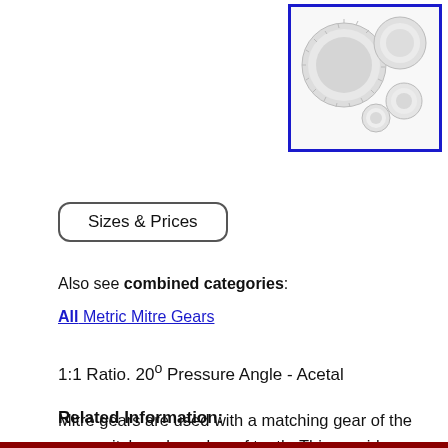[Figure (photo): Photo of multiple white acetal mitre gears of different sizes arranged together, shown against white background inside a blue-bordered box]
Sizes & Prices
Also see combined categories:
All Metric Mitre Gears
1:1 Ratio. 20° Pressure Angle - Acetal
Mitre gears are used with a matching gear of the same pitch and number of teeth. This provides a 1:1 ratio on a 90° angle. See Gears - Bevel for other ratios.
Related Information: